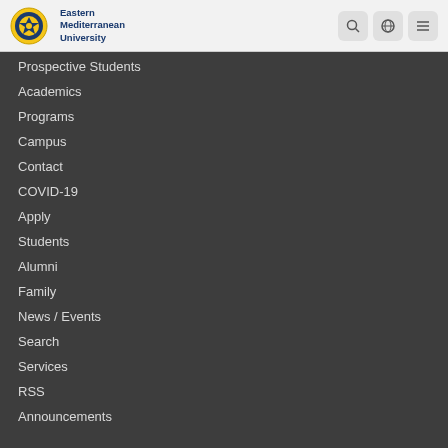[Figure (logo): Eastern Mediterranean University logo with circular emblem and text]
Prospective Students
Academics
Programs
Campus
Contact
COVID-19
Apply
Students
Alumni
Family
News / Events
Search
Services
RSS
Announcements